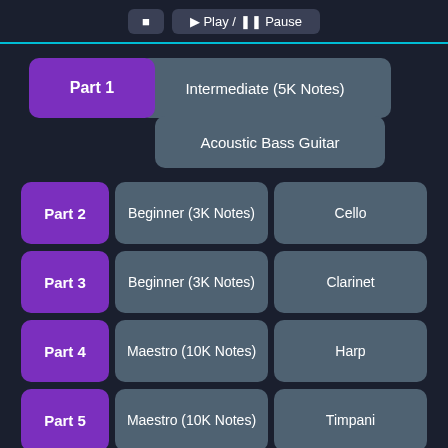[Figure (screenshot): Top navigation bar with reset and play/pause buttons on dark background]
Part 1 | Intermediate (5K Notes) | Acoustic Bass Guitar
Part 2 | Beginner (3K Notes) | Cello
Part 3 | Beginner (3K Notes) | Clarinet
Part 4 | Maestro (10K Notes) | Harp
Part 5 | Maestro (10K Notes) | Timpani